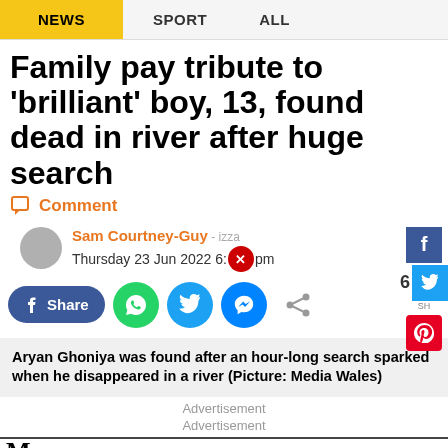NEWS | SPORT | ALL
Family pay tribute to 'brilliant' boy, 13, found dead in river after huge search
Comment
Sam Courtney-Guy
Thursday 23 Jun 2022 6:[time]pm
[Figure (screenshot): Social share buttons: Facebook Share, WhatsApp, Twitter, Messenger, generic share. Side buttons: Facebook, 6 shares Twitter, Pinterest.]
Aryan Ghoniya was found after an hour-long search sparked when he disappeared in a river (Picture: Media Wales)
Advertisement
Advertisement